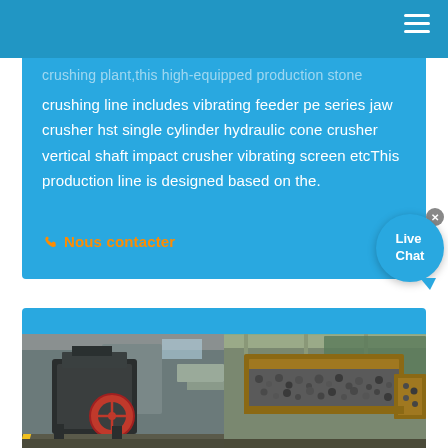crushing plant,this high-equipped production stone crushing line includes vibrating feeder pe series jaw crusher hst single cylinder hydraulic cone crusher vertical shaft impact crusher vibrating screen etcThis production line is designed based on the.
Nous contacter
[Figure (photo): Two industrial photos side by side: left shows a jaw crusher machine in a factory/plant setting; right shows a vibrating screen with aggregates/stones in an industrial plant.]